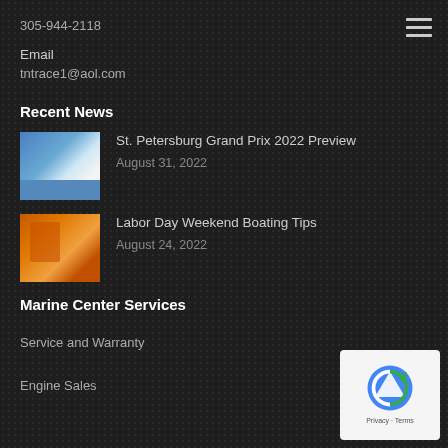305-944-2118
Email
tntrace1@aol.com
Recent News
[Figure (photo): Thumbnail image of St. Petersburg Grand Prix venue, blue sky and green track]
St. Petersburg Grand Prix 2022 Preview
August 31, 2022
[Figure (photo): Thumbnail image showing orange life vests or boating equipment]
Labor Day Weekend Boating Tips
August 24, 2022
Marine Center Services
Service and Warranty
Engine Sales